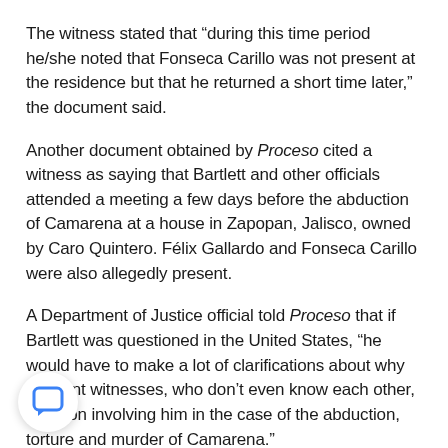The witness stated that “during this time period he/she noted that Fonseca Carillo was not present at the residence but that he returned a short time later,” the document said.
Another document obtained by Proceso cited a witness as saying that Bartlett and other officials attended a meeting a few days before the abduction of Camarena at a house in Zapopan, Jalisco, owned by Caro Quintero. Félix Gallardo and Fonseca Carillo were also allegedly present.
A Department of Justice official told Proceso that if Bartlett was questioned in the United States, “he would have to make a lot of clarifications about why different witnesses, who don’t even know each other, insist on involving him in the case of the abduction, torture and murder of Camarena.”
[Figure (illustration): Chat bubble icon in a circular white button with drop shadow, blue speech bubble icon in center]